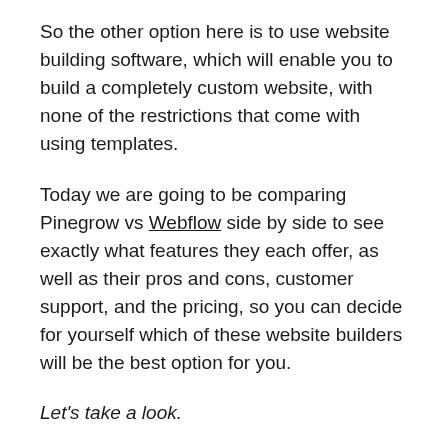So the other option here is to use website building software, which will enable you to build a completely custom website, with none of the restrictions that come with using templates.
Today we are going to be comparing Pinegrow vs Webflow side by side to see exactly what features they each offer, as well as their pros and cons, customer support, and the pricing, so you can decide for yourself which of these website builders will be the best option for you.
Let’s take a look.
The Similarities